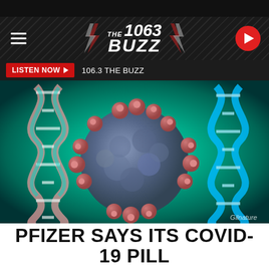[Figure (screenshot): 106.3 The Buzz radio station website header with dark textured background, hamburger menu icon on left, THE 1063 BUZZ logo in center with red lightning bolt accents, and circular red play button on right]
[Figure (screenshot): Listen Now button bar in dark background with red LISTEN NOW button and text '106.3 THE BUZZ']
[Figure (photo): 3D render of COVID-19 coronavirus particle (blue-grey sphere with red spike proteins) surrounded by DNA double helix strands on teal/cyan background. Watermark 'Gilnature' in lower right.]
PFIZER SAYS ITS COVID-19 PILL